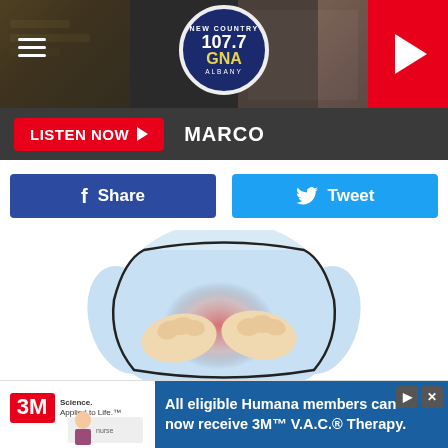[Figure (screenshot): Radio station 107.7 GNA Albany header bar with hamburger menu, circular logo, and red play button]
LISTEN NOW ▶  MARCO
f Share
🐦 Tweet
[Figure (illustration): Cartoon illustration of a person holding their stomach area with a red glow indicating pain]
Red Flag Biomarkers for Severe Eosinophilic Asthma (Catching It Early Matters)
Asthma | Search Ads
[Figure (photo): Partial photo of a room interior, beige/tan walls]
All eligible Humana members can now receive 3M™ V.A.C.® Therapy.